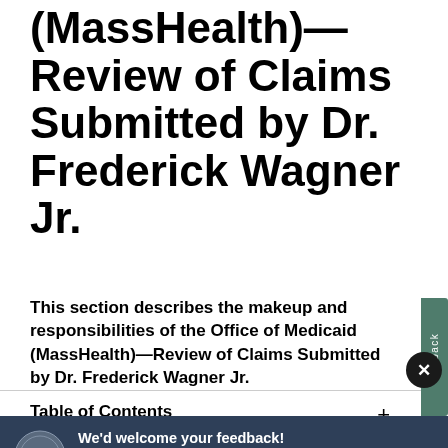(MassHealth)—Review of Claims Submitted by Dr. Frederick Wagner Jr.
This section describes the makeup and responsibilities of the Office of Medicaid (MassHealth)—Review of Claims Submitted by Dr. Frederick Wagner Jr.
Table of Contents
[Figure (screenshot): Feedback popup overlay with Massachusetts state seal, headline 'We'd welcome your feedback!', survey invitation text, and two buttons: 'Text me' and 'Email me']